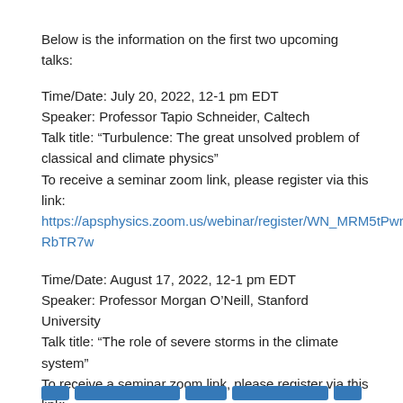Below is the information on the first two upcoming talks:
Time/Date: July 20, 2022, 12-1 pm EDT
Speaker: Professor Tapio Schneider, Caltech
Talk title: “Turbulence: The great unsolved problem of classical and climate physics”
To receive a seminar zoom link, please register via this link:
https://apsphysics.zoom.us/webinar/register/WN_MRM5tPwrTuyuR0p-RbTR7w
Time/Date: August 17, 2022, 12-1 pm EDT
Speaker: Professor Morgan O’Neill, Stanford University
Talk title: “The role of severe storms in the climate system”
To receive a seminar zoom link, please register via this link:
https://apsphysics.zoom.us/webinar/register/WN_i_3v2dhQR9S3zz9Jaf8M-A
See the future seminar schedule here:
https://engage.aps.org/gpc/resources/seminar-series